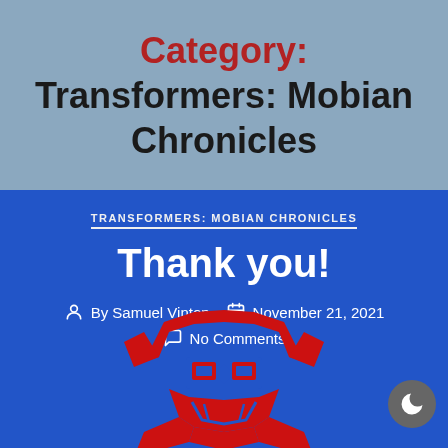Category: Transformers: Mobian Chronicles
TRANSFORMERS: MOBIAN CHRONICLES
Thank you!
By Samuel Vinton  November 21, 2021
No Comments
[Figure (logo): Transformers Autobot logo in red on blue background]